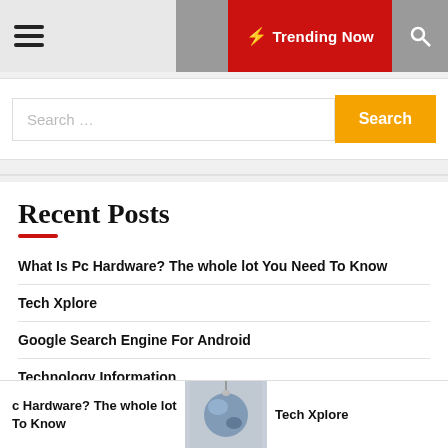☰  ☾  ⚡ Trending Now  🔍
Search ...
Recent Posts
What Is Pc Hardware? The whole lot You Need To Know
Tech Xplore
Google Search Engine For Android
Technology Information
c Hardware? The whole lot To Know   Tech Xplore